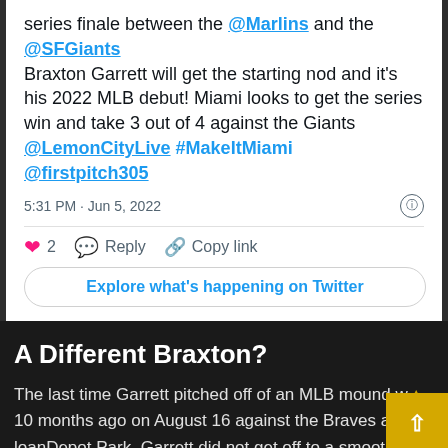series finale between the @Marlins and the @SFGiants
Braxton Garrett will get the starting nod and it's his 2022 MLB debut! Miami looks to get the series win and take 3 out of 4 against the Giants
@LemonCityLive #MakeItMiami @firstpitch305
5:31 PM · Jun 5, 2022
2   Reply   Copy link
Explore what's happening on Twitter
A Different Braxton?
The last time Garrett pitched off of an MLB mound was 10 months ago on August 16 against the Braves at loanDepot Park. Garrett did not get off to a smooth start